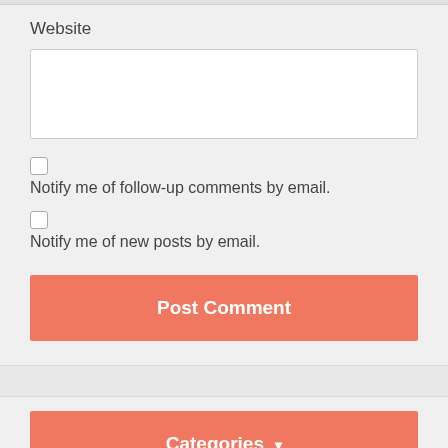Website
Notify me of follow-up comments by email.
Notify me of new posts by email.
Post Comment
Categories ▾